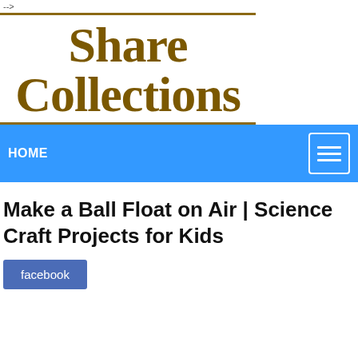-->
[Figure (logo): Share Collections logo with bold serif brown text on white background with brown horizontal border lines]
HOME
Make a Ball Float on Air | Science Craft Projects for Kids
facebook